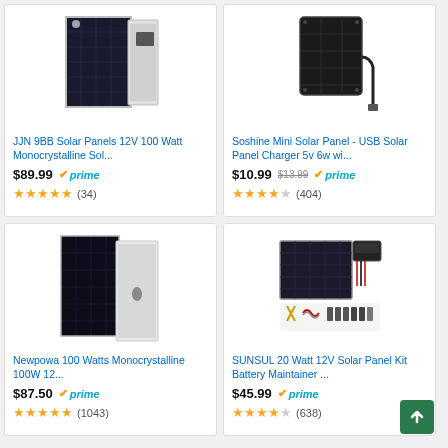[Figure (photo): JJN 9BB solar panel product photo showing monocrystalline panel]
JJN 9BB Solar Panels 12V 100 Watt Monocrystalline Sol...
$89.99 prime (34 reviews, 4.5 stars)
[Figure (photo): Soshine Mini Solar Panel - USB Solar Panel Charger product photo]
Soshine Mini Solar Panel - USB Solar Panel Charger 5v 6w wi...
$10.99 $13.99 prime (404 reviews, 4 stars)
[Figure (photo): Newpowa 100 Watts Monocrystalline solar panel product photo]
Newpowa 100 Watts Monocrystalline 100W 12...
$87.50 prime (1043 reviews, 4.5 stars)
[Figure (photo): SUNSUL 20 Watt 12V Solar Panel Kit Battery Maintainer product photo]
SUNSUL 20 Watt 12V Solar Panel Kit Battery Maintainer ...
$45.99 prime (638 reviews, 4 stars)